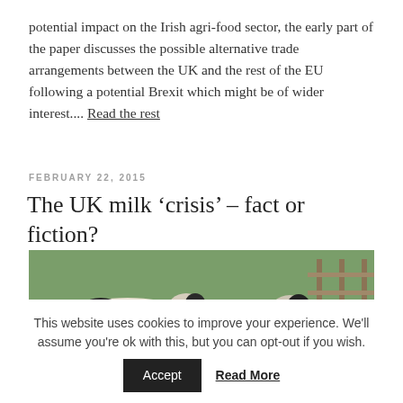potential impact on the Irish agri-food sector, the early part of the paper discusses the possible alternative trade arrangements between the UK and the rest of the EU following a potential Brexit which might be of wider interest.... Read the rest
FEBRUARY 22, 2015
The UK milk ‘crisis’ – fact or fiction?
[Figure (photo): Photograph of black and white cows from behind, standing in a green field with a fence visible in the background.]
This website uses cookies to improve your experience. We'll assume you're ok with this, but you can opt-out if you wish.